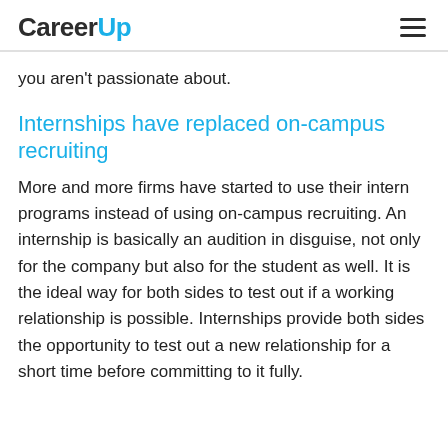CareerUp
you aren't passionate about.
Internships have replaced on-campus recruiting
More and more firms have started to use their intern programs instead of using on-campus recruiting. An internship is basically an audition in disguise, not only for the company but also for the student as well. It is the ideal way for both sides to test out if a working relationship is possible. Internships provide both sides the opportunity to test out a new relationship for a short time before committing to it fully.